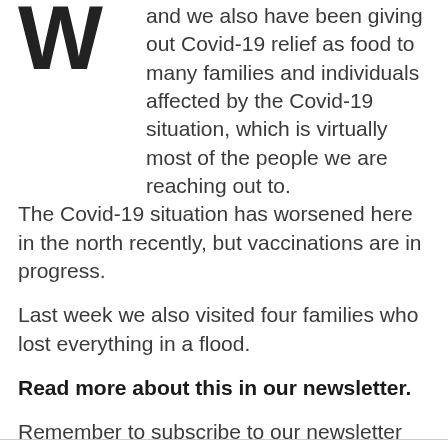and we also have been giving out Covid-19 relief as food to many families and individuals affected by the Covid-19 situation, which is virtually most of the people we are reaching out to. The Covid-19 situation has worsened here in the north recently, but vaccinations are in progress.
Last week we also visited four families who lost everything in a flood.
Read more about this in our newsletter.
Remember to subscribe to our newsletter (see the end of this newsletter)
Continue reading